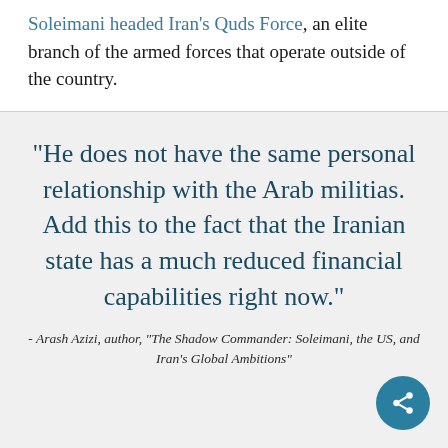elite branch of the armed forces that operate outside of the country.
“He does not have the same personal relationship with the Arab militias. Add this to the fact that the Iranian state has a much reduced financial capabilities right now.”
- Arash Azizi, author, “The Shadow Commander: Soleimani, the US, and Iran’s Global Ambitions”